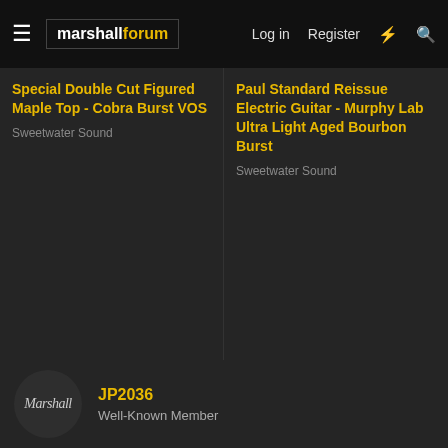Marshall Forum — Log in | Register
Special Double Cut Figured Maple Top - Cobra Burst VOS
Sweetwater Sound
Paul Standard Reissue Electric Guitar - Murphy Lab Ultra Light Aged Bourbon Burst
Sweetwater Sound
JP2036
Well-Known Member
Apr 11, 2021 #4
Cool but no.
ricksdisconnected
crossroadsnyc
Senior Moderator  Staff Member